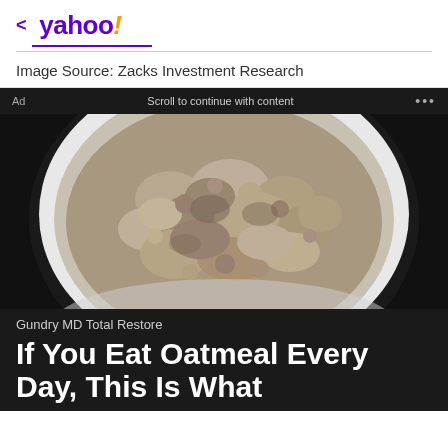< yahoo!
Image Source: Zacks Investment Research
Ad   Scroll to continue with content   ...
[Figure (photo): A white bowl filled with cooked oatmeal, photographed on a dark background]
Gundry MD Total Restore
If You Eat Oatmeal Every Day, This Is What